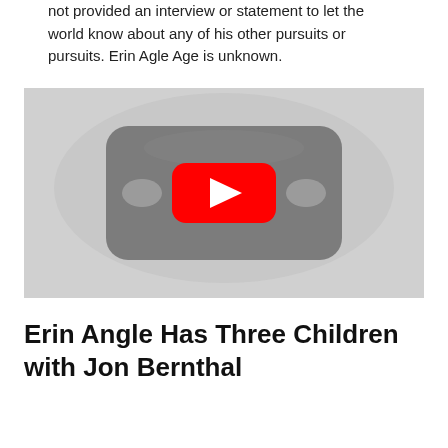not provided an interview or statement to let the world know about any of his other pursuits or pursuits. Erin Agle Age is unknown.
[Figure (screenshot): YouTube video thumbnail placeholder showing a gray background with a YouTube-style dark rounded rectangle and red play button in the center.]
Erin Angle Has Three Children with Jon Bernthal